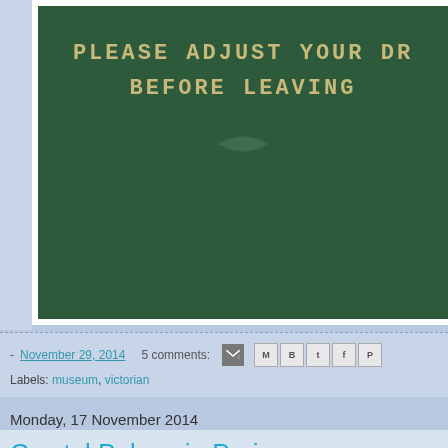[Figure (photo): Green metal sign reading 'PLEASE ADJUST YOUR DR... BEFORE LEAVING' in embossed lettering, partially cropped on right side]
- November 29, 2014   5 comments:   [email icon] [social share icons]
Labels: museum, victorian
Monday, 17 November 2014
Crystal Palace in Paris
The amazing Crystal Palace, star of the 1851 Great Exhibition in Hy...